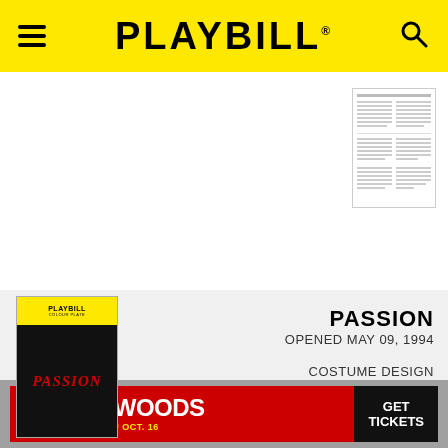PLAYBILL
[Figure (screenshot): Thumbnail of a document page - top right area]
[Figure (screenshot): Playbill program cover for Passion (1994) - black background with red italic PASSION text and yellow Playbill header]
PASSION
OPENED MAY 09, 1994
COSTUME DESIGN
[Figure (screenshot): Thumbnail of a document page - lower right area]
[Figure (infographic): Advertisement banner: INTO THE WOODS - PLAYING NOW THRU OCT. 16 - GET TICKETS]